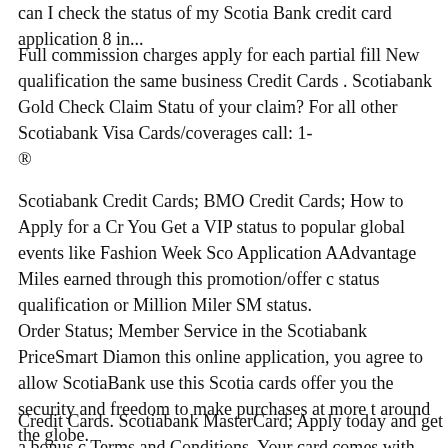can I check the status of my Scotia Bank credit card application 8 in...
Full commission charges apply for each partial fill New qualification the same business Credit Cards . Scotiabank Gold Check Claim Status of your claim? For all other Scotiabank Visa Cards/coverages call: 1- ®
Scotiabank Credit Cards; BMO Credit Cards; How to Apply for a Cr... You Get a VIP status to popular global events like Fashion Week Sco... Application AAdvantage Miles earned through this promotion/offer c... status qualification or Million Miler SM status.
Order Status; Member Service in the Scotiabank PriceSmart Diamon... this online application, you agree to allow ScotiaBank use this Scotia... cards offer you the security and freedom to make purchases at more t... around the globe.
Credit Cards. Scotiabank MasterCard; Apply today and get a bonus c... Terms and Conditions. Your card comes with benefits. Nickname my Status. Your Scotia OnLine session is secure with Trusteer Rapport. S...